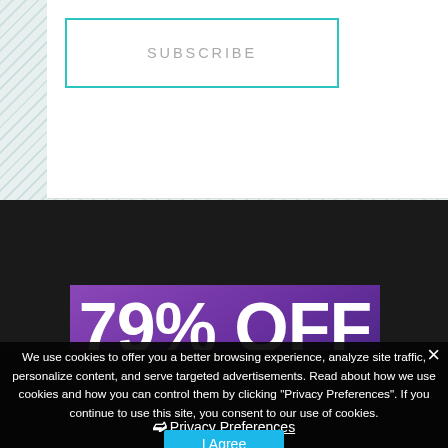[Figure (screenshot): Subscribe button with teal border on white/striped background]
[Figure (screenshot): Purple banner showing 79% OFF promotional text]
We use cookies to offer you a better browsing experience, analyze site traffic, personalize content, and serve targeted advertisements. Read about how we use cookies and how you can control them by clicking "Privacy Preferences". If you continue to use this site, you consent to our use of cookies.
❯ Privacy Preferences
I Agree